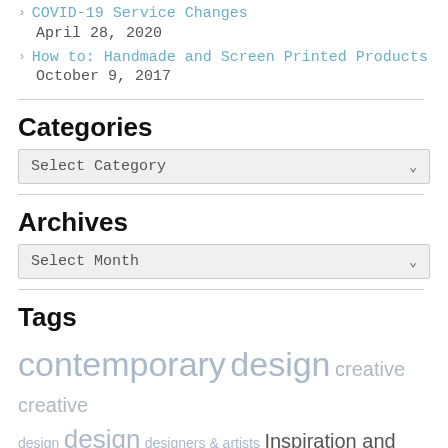COVID-19 Service Changes
April 28, 2020
How to: Handmade and Screen Printed Products
October 9, 2017
Categories
Select Category
Archives
Select Month
Tags
contemporary design creative creative design design designers & artists Inspiration and Tips